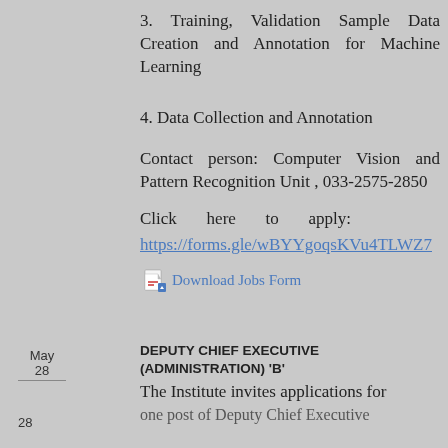3. Training, Validation Sample Data Creation and Annotation for Machine Learning
4. Data Collection and Annotation
Contact person: Computer Vision and Pattern Recognition Unit , 033-2575-2850
Click here to apply: https://forms.gle/wBYYgoqsKVu4TLWZ7
Download Jobs Form
May 28
DEPUTY CHIEF EXECUTIVE (ADMINISTRATION) 'B'
The Institute invites applications for one post of Deputy Chief Executive